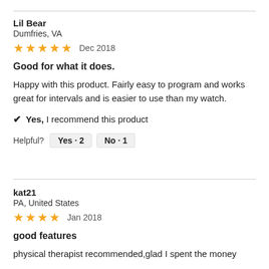Lil Bear
Dumfries, VA
★★★★★  Dec 2018
Good for what it does.
Happy with this product. Fairly easy to program and works great for intervals and is easier to use than my watch.
✔ Yes, I recommend this product
Helpful?  Yes · 2  No · 1
kat21
PA, United States
★★★★  Jan 2018
good features
physical therapist  recommended,glad I spent the money